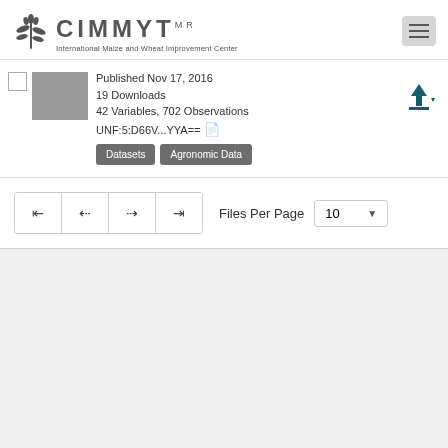[Figure (logo): CIMMYT logo with wheat/maize icon and text 'International Maize and Wheat Improvement Center']
Published Nov 17, 2016
19 Downloads
42 Variables, 702 Observations
UNF:5:D66V...YYA==
Datasets  Agronomic Data
Files Per Page  10